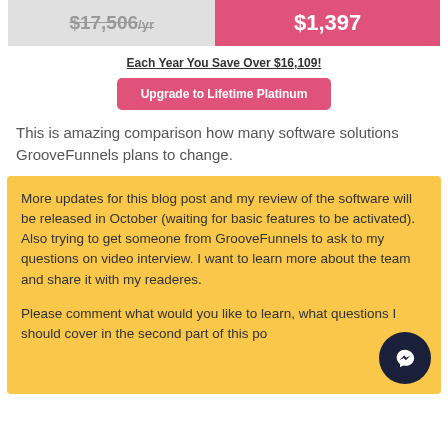[Figure (other): Two-column price comparison bar: left grey strikethrough $17,506/yr, right pink $1,397]
Each Year You Save Over $16,109!
Upgrade to Lifetime Platinum
This is amazing comparison how many software solutions GrooveFunnels plans to change.
More updates for this blog post and my review of the software will be released in October (waiting for basic features to be activated). Also trying to get someone from GrooveFunnels to ask to my questions on video interview. I want to learn more about the team and share it with my readeres.

Please comment what would you like to learn, what questions I should cover in the second part of this po...